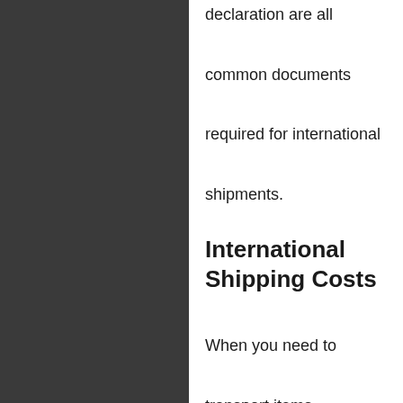declaration are all common documents required for international shipments.
International Shipping Costs
When you need to transport items